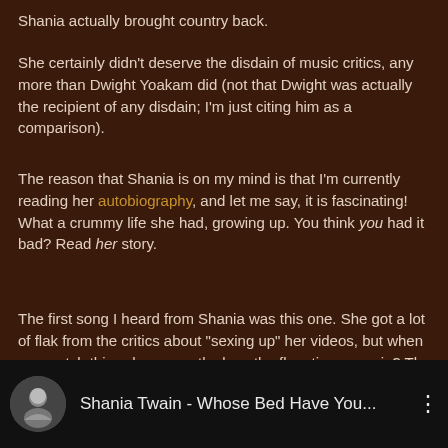Shania actually brought country back.
She certainly didn't deserve the disdain of music critics, any more than Dwight Yoakam did (not that Dwight was actually the recipient of any disdain; I'm just citing him as a comparison).
The reason that Shania is on my mind is that I'm currently reading her autobiography, and let me say, it is fascinating! What a crummy life she had, growing up. You think you had it bad? Read her story.
[Figure (screenshot): YouTube video bar showing thumbnail of Shania Twain and title 'Shania Twain - Whose Bed Have You...' with a three-dot menu icon]